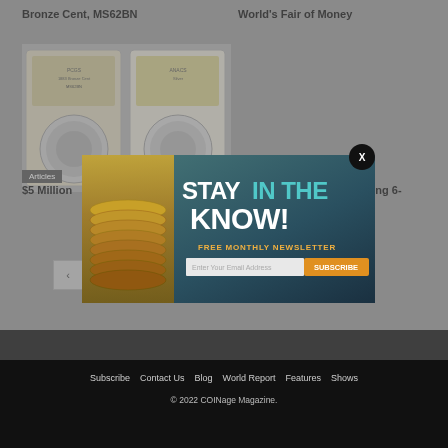Bronze Cent, MS62BN
World's Fair of Money
[Figure (photo): Two ANACS graded coin slabs side by side showing silver coins]
Articles
$5 Million
aking 6-
[Figure (infographic): Newsletter signup modal overlay: STAY IN THE KNOW! FREE MONTHLY NEWSLETTER with email input and SUBSCRIBE button, stacked gold coins image on left, close button X top right]
Subscribe   Contact Us   Blog   World Report   Features   Shows
© 2022 COINage Magazine.